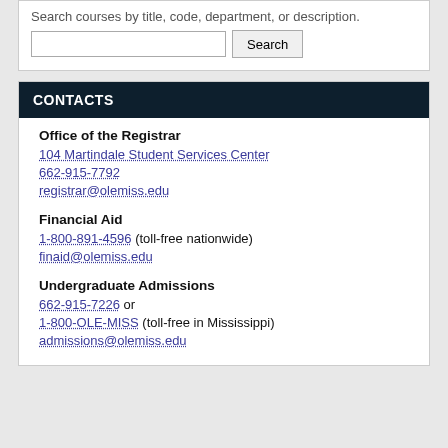Search courses by title, code, department, or description.
Search [input field] [Search button]
CONTACTS
Office of the Registrar
104 Martindale Student Services Center
662-915-7792
registrar@olemiss.edu
Financial Aid
1-800-891-4596 (toll-free nationwide)
finaid@olemiss.edu
Undergraduate Admissions
662-915-7226 or
1-800-OLE-MISS (toll-free in Mississippi)
admissions@olemiss.edu